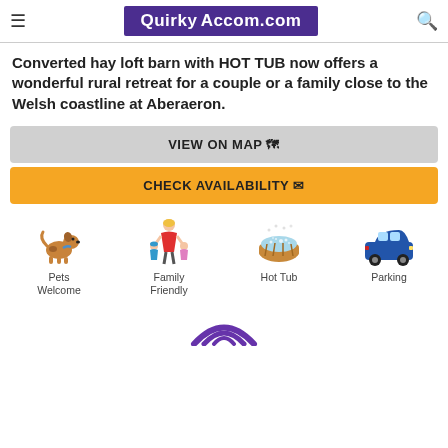QuirkyAccom.com
Converted hay loft barn with HOT TUB now offers a wonderful rural retreat for a couple or a family close to the Welsh coastline at Aberaeron.
VIEW ON MAP
CHECK AVAILABILITY
[Figure (illustration): Four amenity icons: Pets Welcome (dog illustration), Family Friendly (mother and two children illustration), Hot Tub (hot tub illustration), Parking (blue car illustration)]
[Figure (illustration): Partial purple wifi/signal arc icon at bottom of page]